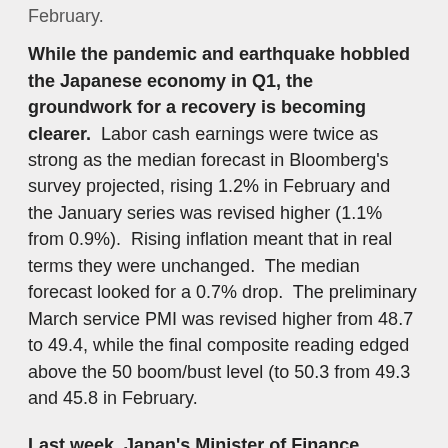February.
While the pandemic and earthquake hobbled the Japanese economy in Q1, the groundwork for a recovery is becoming clearer. Labor cash earnings were twice as strong as the median forecast in Bloomberg's survey projected, rising 1.2% in February and the January series was revised higher (1.1% from 0.9%). Rising inflation meant that in real terms they were unchanged. The median forecast looked for a 0.7% drop. The preliminary March service PMI was revised higher from 48.7 to 49.4, while the final composite reading edged above the 50 boom/bust level (to 50.3 from 49.3 and 45.8 in February.
Last week, Japan's Minister of Finance suggested that impact of the yen's weakness should be reviewed. We suggested that it was a small first step on the intervention escalation ladder. Earlier today, BOJ Governor Kuroda...